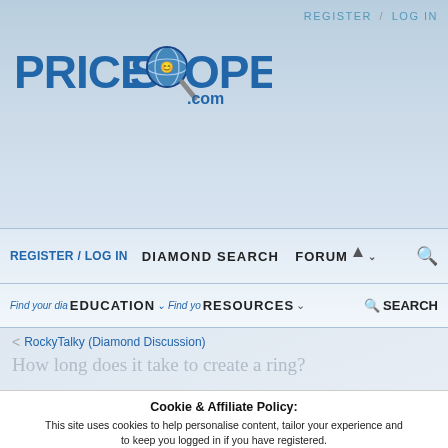REGISTER / LOG IN
[Figure (logo): PriceScope.com logo with magnifying glass icon]
REGISTER / LOG IN   DIAMOND SEARCH   FORUM
Find your dia... EDUCATION   Find yo... RESOURCES   SEARCH
< RockyTalky (Diamond Discussion)
How long does it take to create a ring?
Cookie & Affiliate Policy: This site uses cookies to help personalise content, tailor your experience and to keep you logged in if you have registered. We may generate affiliate revenue through the links/ads on this site. We NEVER accept paid reviews and take great pride in providing honest opinions and objective information on products & services. By continuing to use this site, you are consenting to our use of cookie policy.
Accept   Learn more...